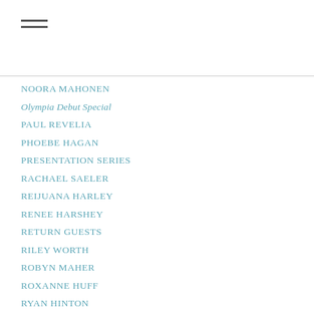[Figure (other): Hamburger menu icon with two horizontal lines]
NOORA MAHONEN
Olympia Debut Special
PAUL REVELIA
PHOEBE HAGAN
PRESENTATION SERIES
RACHAEL SAELER
REIJUANA HARLEY
RENEE HARSHEY
RETURN GUESTS
RILEY WORTH
ROBYN MAHER
ROXANNE HUFF
RYAN HINTON
SARAH COBEAN
SARAH DEVORE
SARAH GAYDEN
SARAH LAW